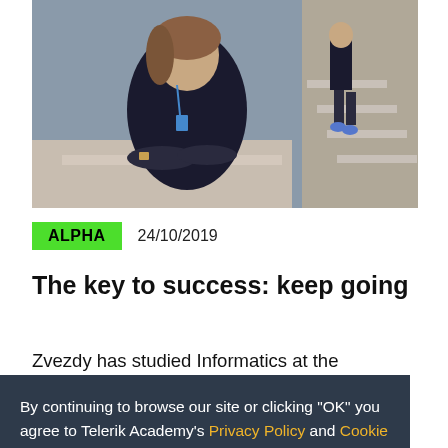[Figure (photo): Photo of a young woman sitting at a desk with a lanyard, and a person in the background on stairs in an office setting]
ALPHA   24/10/2019
The key to success: keep going
Zvezdy has studied Informatics at the University of Plovdiv and worked as a front-
By continuing to browse our site or clicking "OK" you agree to Telerik Academy's Privacy Policy and Cookie Policy
OK